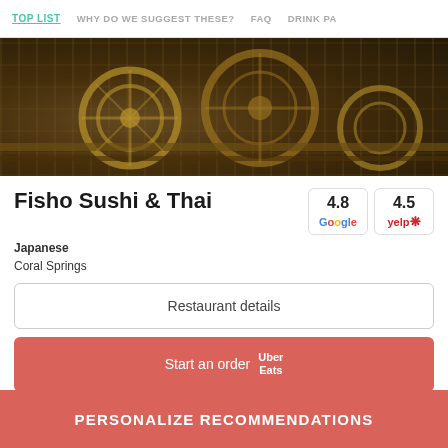TOP LIST  WHY DO WE SUGGEST THESE?  FAQ  DRINK PA
[Figure (photo): Wooden mechanical/steampunk gear construction photo, brown tones]
Fisho Sushi & Thai
4.8 Google
4.5 yelp
Japanese
Coral Springs
Restaurant details
Start an order  Uber Eats
[Figure (photo): Partial restaurant photo, bottom of page]
PERSONALIZE RECOMMENDATIONS